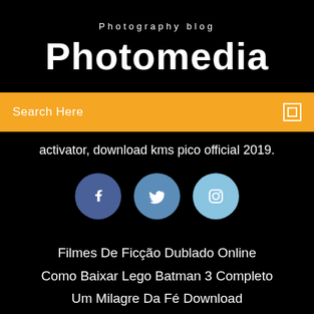Photography blog
Photomedia
Search Here
activator, download kms pico official 2019.
[Figure (infographic): Three social media circular icon buttons: Facebook (dark blue), Twitter (medium blue), Instagram (light blue)]
Filmes De Ficção Dublado Online
Como Baixar Lego Batman 3 Completo
Um Milagre Da Fé Download
Baixar Discografia Sergio Reis